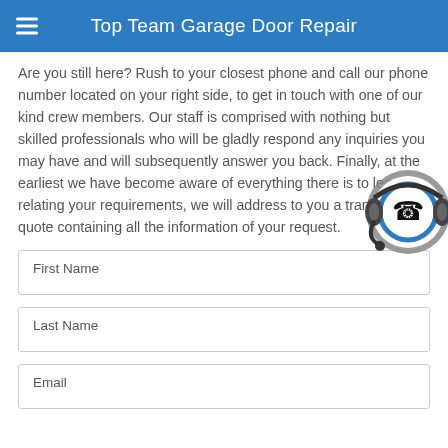Top Team Garage Door Repair
Are you still here? Rush to your closest phone and call our phone number located on your right side, to get in touch with one of our kind crew members. Our staff is comprised with nothing but skilled professionals who will be gladly respond any inquiries you may have and will subsequently answer you back. Finally, at the earliest we have become aware of everything there is to learn relating your requirements, we will address to you a transparent quote containing all the information of your request.
[Figure (illustration): Phone/customer service icon: a circular blue and grey headset icon with a phone handset symbol in the center]
First Name
Last Name
Email